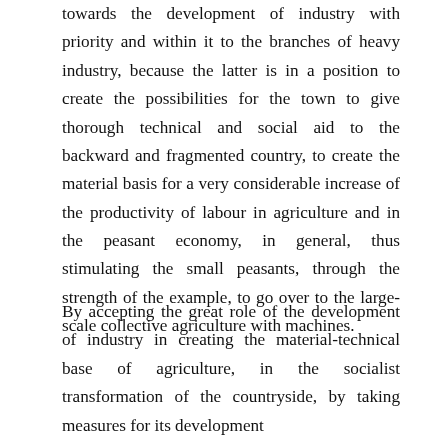towards the development of industry with priority and within it to the branches of heavy industry, because the latter is in a position to create the possibilities for the town to give thorough technical and social aid to the backward and fragmented country, to create the material basis for a very considerable increase of the productivity of labour in agriculture and in the peasant economy, in general, thus stimulating the small peasants, through the strength of the example, to go over to the large-scale collective agriculture with machines.
By accepting the great role of the development of industry in creating the material-technical base of agriculture, in the socialist transformation of the countryside, by taking measures for its development